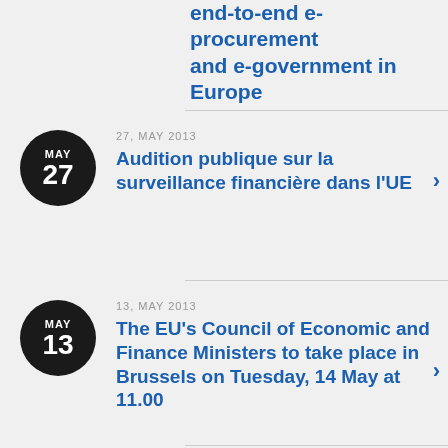end-to-end e-procurement and e-government in Europe
27, MAY 2013 — Audition publique sur la surveillance financière dans l'UE
13, MAY 2013 — The EU's Council of Economic and Finance Ministers to take place in Brussels on Tuesday, 14 May at 11.00